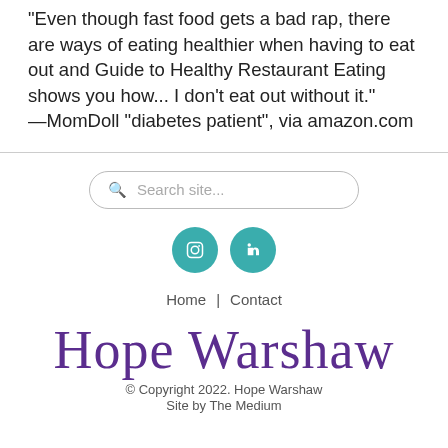"Even though fast food gets a bad rap, there are ways of eating healthier when having to eat out and Guide to Healthy Restaurant Eating shows you how... I don't eat out without it." —MomDoll "diabetes patient", via amazon.com
[Figure (other): Search bar with rounded pill shape and magnifying glass icon, with placeholder text 'Search site...']
[Figure (other): Two teal circular social media icon buttons side by side]
Home  |  Contact
[Figure (logo): Hope Warshaw cursive signature logo in purple]
© Copyright 2022. Hope Warshaw
Site by The Medium